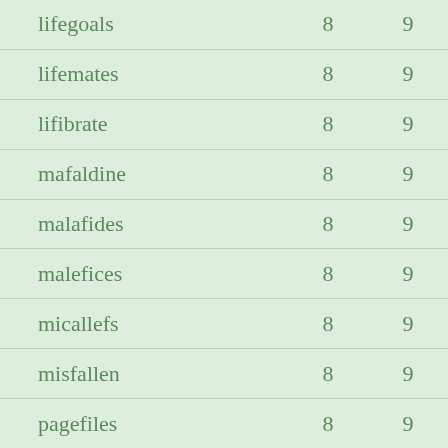| lifegoals | 8 | 9 |
| lifemates | 8 | 9 |
| lifibrate | 8 | 9 |
| mafaldine | 8 | 9 |
| malafides | 8 | 9 |
| malefices | 8 | 9 |
| micallefs | 8 | 9 |
| misfallen | 8 | 9 |
| pagefiles | 8 | 9 |